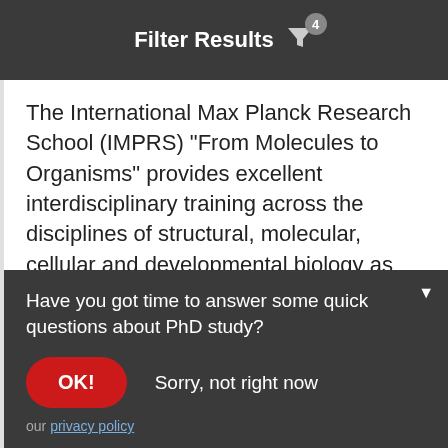Filter Results 4
The International Max Planck Research School (IMPRS) “From Molecules to Organisms” provides excellent interdisciplinary training across the disciplines of structural, molecular, cellular and developmental biology as well as bioinformatics, genomics and evolutionary biology. Read more ›
Have you got time to answer some quick questions about PhD study?
OK!  Sorry, not right now
our privacy policy